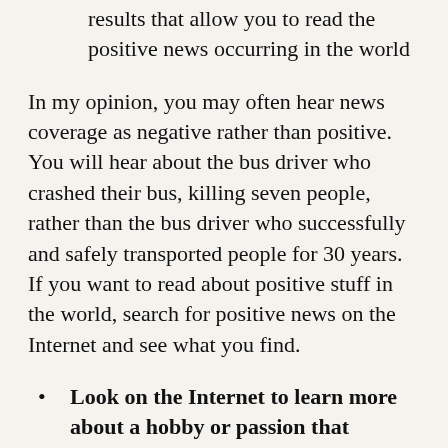results that allow you to read the positive news occurring in the world
In my opinion, you may often hear news coverage as negative rather than positive. You will hear about the bus driver who crashed their bus, killing seven people, rather than the bus driver who successfully and safely transported people for 30 years. If you want to read about positive stuff in the world, search for positive news on the Internet and see what you find.
Look on the Internet to learn more about a hobby or passion that interests you–you can look on the Internet to find a passion or hobby you enjoy. For example, you can learn more about astronomy if you enjoy astronomy as a passion.